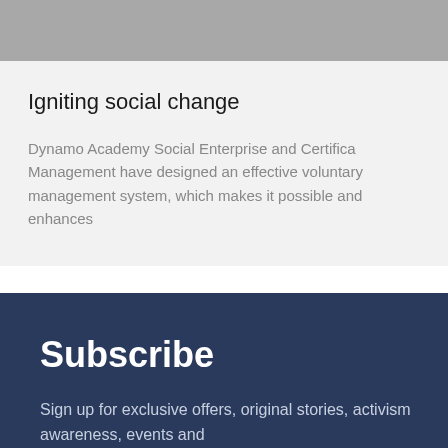[Figure (photo): Gray image block at top of page]
Igniting social change
Dynamo Academy Social Enterprise and Certifica Management have designed an effective voluntary management system, which makes it possible and enhances
Subscribe
Sign up for exclusive offers, original stories, activism awareness, events and